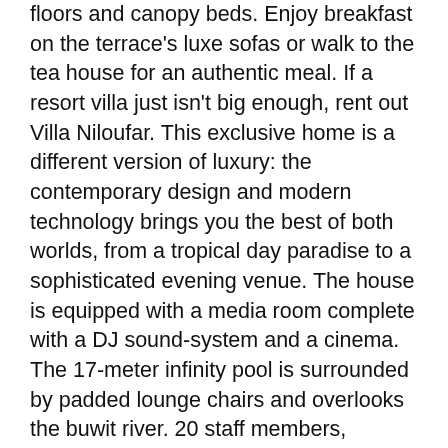floors and canopy beds. Enjoy breakfast on the terrace's luxe sofas or walk to the tea house for an authentic meal. If a resort villa just isn't big enough, rent out Villa Niloufar. This exclusive home is a different version of luxury: the contemporary design and modern technology brings you the best of both worlds, from a tropical day paradise to a sophisticated evening venue. The house is equipped with a media room complete with a DJ sound-system and a cinema. The 17-meter infinity pool is surrounded by padded lounge chairs and overlooks the buwit river. 20 staff members, including a personal driver, provide you with the service you expect and ensure an unforgettable Bali experience. Once you experience private aviation you'll never seek lesser travel methods. That's because when you charter a private jet to Bali with Stratos Jets you gain access to more private airports, select your own departure times, and skip lengthy security and customs lines while attaining increased personal security. Design customized on-board dining through our Stratos Jets catering menu and request an aircraft equipped with enhanced entertainment options like satellite radio and unlimited movies. With access to over 5,000 available private aircraft, a Stratos Jets private flight advisor will help you determine the perfect private plane while facilitating transactions and ensuring a seamless charter flight planning process. Client